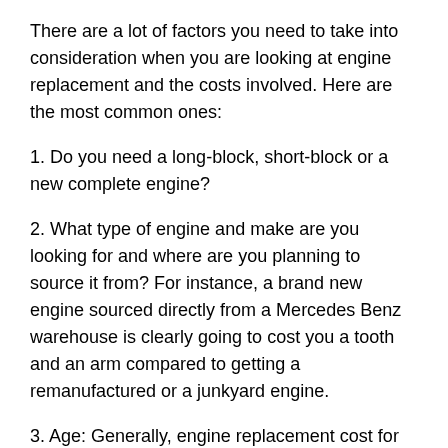There are a lot of factors you need to take into consideration when you are looking at engine replacement and the costs involved. Here are the most common ones:
1. Do you need a long-block, short-block or a new complete engine?
2. What type of engine and make are you looking for and where are you planning to source it from? For instance, a brand new engine sourced directly from a Mercedes Benz warehouse is clearly going to cost you a tooth and an arm compared to getting a remanufactured or a junkyard engine.
3. Age: Generally, engine replacement cost for domestic or Japanese vehicles keep getting expensive as new models continue to be invented. For example, newer European engine replacements are always relatively